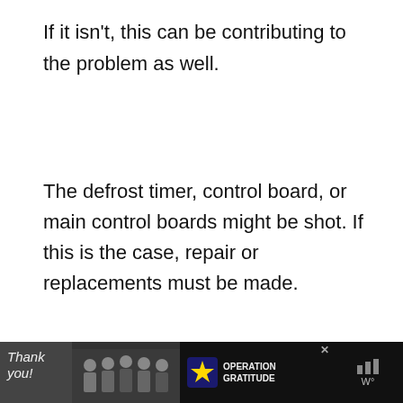If it isn't, this can be contributing to the problem as well.
The defrost timer, control board, or main control boards might be shot. If this is the case, repair or replacements must be made.
[Figure (screenshot): Partial UI overlay showing a grey content box with bold italic text 'But in most cases when refrigerator runs constantly but not cooling', a 'What's Next' panel, up-arrow navigation button, and an advertisement banner at the bottom with 'Thank you!' text and 'Operation Gratitude' logo. Also heart/share interaction icons on the right side.]